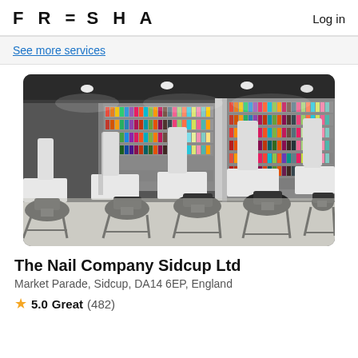FRESHA  Log in
See more services
[Figure (photo): Interior of The Nail Company Sidcup Ltd salon: multiple nail technician stations with white desks and black ergonomic chairs, walls lined with colorful nail polish shelves, recessed lighting and blue LED ceiling accent.]
The Nail Company Sidcup Ltd
Market Parade, Sidcup, DA14 6EP, England
⭐ 5.0 Great (482)